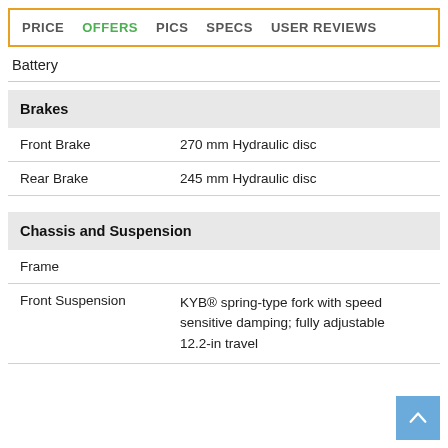PRICE  OFFERS  PICS  SPECS  USER REVIEWS
Battery
Brakes
Front Brake: 270 mm Hydraulic disc
Rear Brake: 245 mm Hydraulic disc
Chassis and Suspension
Frame
Front Suspension: KYB® spring-type fork with speed sensitive damping; fully adjustable 12.2-in travel